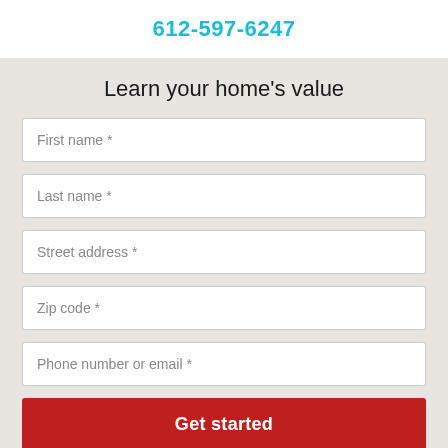612-597-6247
Learn your home's value
First name *
Last name *
Street address *
Zip code *
Phone number or email *
Get started